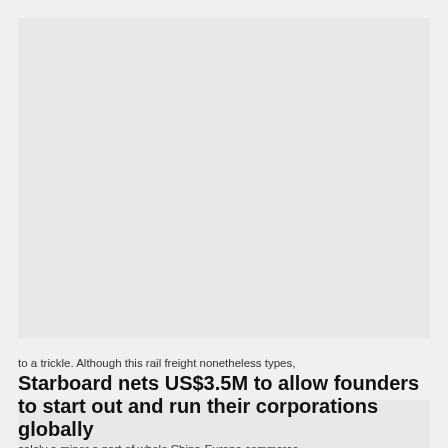[Figure (photo): Large image placeholder at top of article card, light gray background]
ASIA PACIFIC
to a trickle. Although this rail freight nonetheless types,
Starboard nets US$3.5M to allow founders to start out and run their corporations globally
solely a minor a part of whole China-Europe commerce – about 4 % by worth – it has been emblematic of Xi's strategic coverage, a none-too-disguised sidestep to US sea
SEPTEMBER 1, 2022
[Figure (photo): Bottom image placeholder, light gray background]